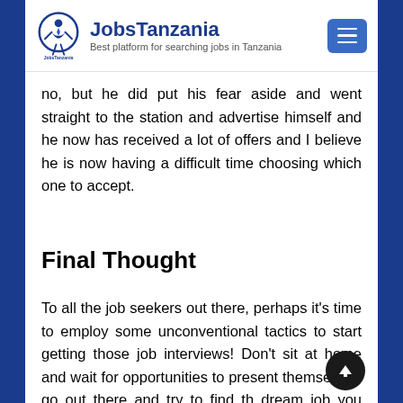JobsTanzania — Best platform for searching jobs in Tanzania
no, but he did put his fear aside and went straight to the station and advertise himself and he now has received a lot of offers and I believe he is now having a difficult time choosing which one to accept.
Final Thought
To all the job seekers out there, perhaps it's time to employ some unconventional tactics to start getting those job interviews! Don't sit at home and wait for opportunities to present themselves, go out there and try to find the dream job you always dream about. Start by